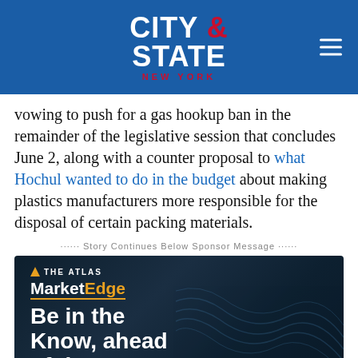City & State New York
vowing to push for a gas hookup ban in the remainder of the legislative session that concludes June 2, along with a counter proposal to what Hochul wanted to do in the budget about making plastics manufacturers more responsible for the disposal of certain packing materials.
······ Story Continues Below Sponsor Message ······
[Figure (advertisement): The Atlas MarketEdge advertisement with tagline 'Be in the Know, ahead of the RFP' on a dark navy background with wave graphics]